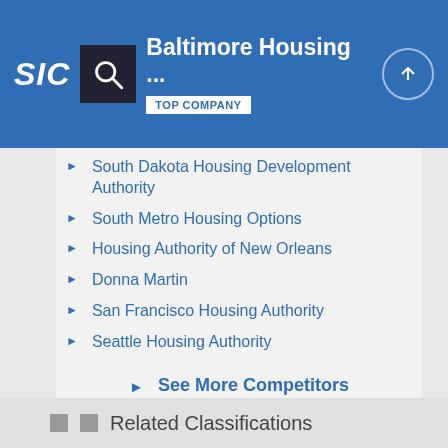Baltimore Housing ... TOP COMPANY
South Dakota Housing Development Authority
South Metro Housing Options
Housing Authority of New Orleans
Donna Martin
San Francisco Housing Authority
Seattle Housing Authority
Housing Authority of The City of El Paso
Newark Housing Authority
See More Competitors
Related Classifications